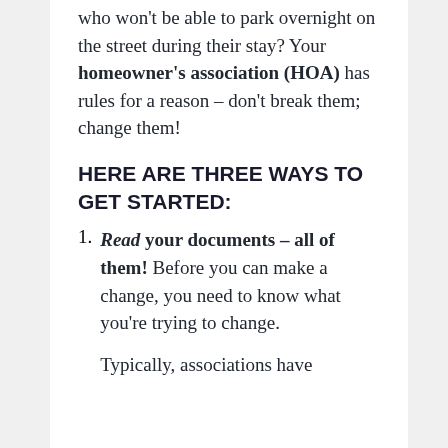who won't be able to park overnight on the street during their stay? Your homeowner's association (HOA) has rules for a reason – don't break them; change them!
HERE ARE THREE WAYS TO GET STARTED:
Read your documents – all of them! Before you can make a change, you need to know what you're trying to change. Typically, associations have